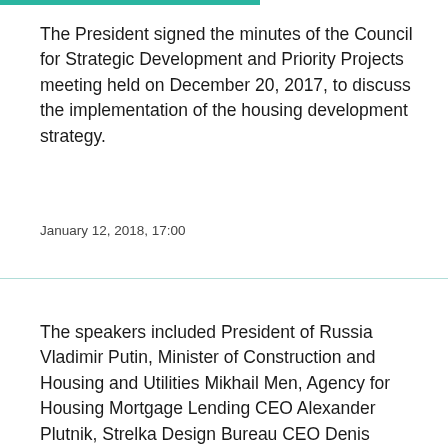The President signed the minutes of the Council for Strategic Development and Priority Projects meeting held on December 20, 2017, to discuss the implementation of the housing development strategy.
January 12, 2018, 17:00
The speakers included President of Russia Vladimir Putin, Minister of Construction and Housing and Utilities Mikhail Men, Agency for Housing Mortgage Lending CEO Alexander Plutnik, Strelka Design Bureau CEO Denis Leontyev, President of the National Association of Home Builders Leonid Kazinets, Central Bank Governor Elvira Nabiullina, President of OPORA Russia Alexander Kalinin, Co-Chairman of Delovaya Rossia...